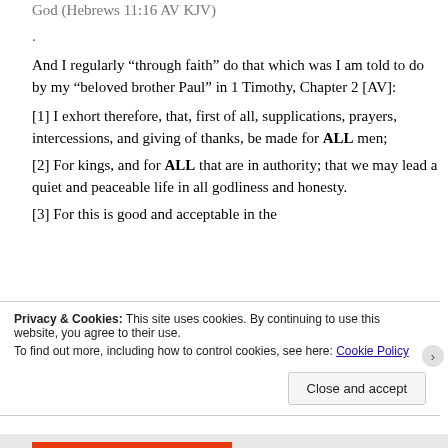God (Hebrews 11:16 AV KJV).

And I regularly “through faith” do that which was I am told to do by my “beloved brother Paul” in 1 Timothy, Chapter 2 [AV]:
[1] I exhort therefore, that, first of all, supplications, prayers, intercessions, and giving of thanks, be made for ALL men;
[2] For kings, and for ALL that are in authority; that we may lead a quiet and peaceable life in all godliness and honesty.
[3] For this is good and acceptable in the
Privacy & Cookies: This site uses cookies. By continuing to use this website, you agree to their use.
To find out more, including how to control cookies, see here: Cookie Policy